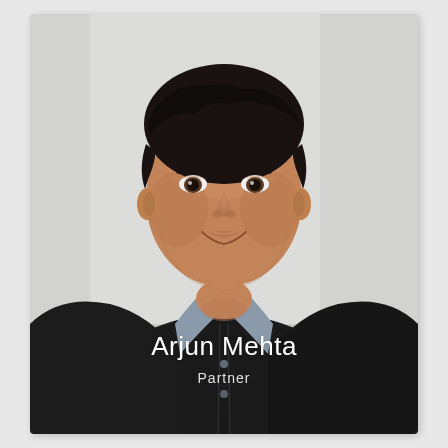[Figure (photo): Professional headshot of Arjun Mehta, a middle-aged man with dark hair wearing a dark blazer over a blue-grey shirt, photographed against a light grey/white background, smiling slightly.]
Arjun Mehta
Partner